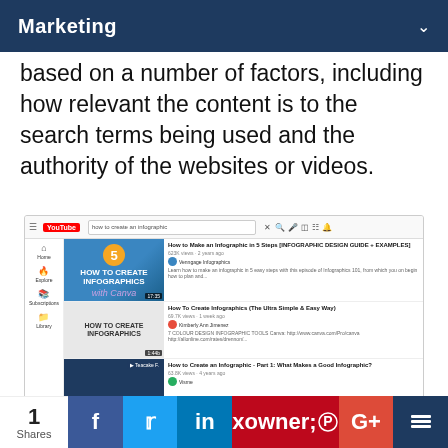Marketing
based on a number of factors, including how relevant the content is to the search terms being used and the authority of the websites or videos.
[Figure (screenshot): YouTube search results page showing videos about 'how to create an infographic', including 'How to Make an Infographic in 5 Steps [INFOGRAPHIC DESIGN GUIDE + EXAMPLES]', 'How To Create Infographics (The Ultra Simple & Easy Way)', and 'How to Create an Infographic - Part 1: What Makes a Good Infographic?']
An example of SEO done right: our video on
1 Shares